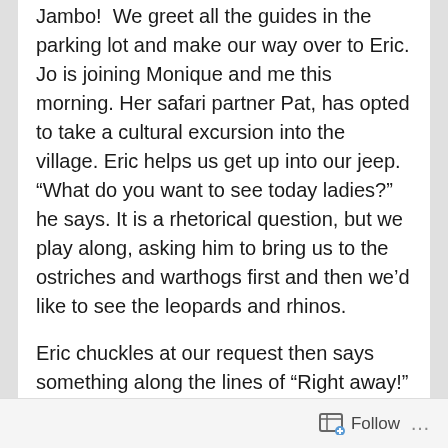Jambo!  We greet all the guides in the parking lot and make our way over to Eric. Jo is joining Monique and me this morning. Her safari partner Pat, has opted to take a cultural excursion into the village. Eric helps us get up into our jeep.   “What do you want to see today ladies?” he says. It is a rhetorical question, but we play along, asking him to bring us to the ostriches and warthogs first and then we’d like to see the leopards and rhinos.
Eric chuckles at our request then says something along the lines of “Right away!” He puts his foot down on the accelerator and the motor revs to life. We drive for a bit following the established trail, until Eric gets that look we are starting to recognize and pulls the vehicle over to the side and pops up over the windshield with his binoculars. He points
Follow ...